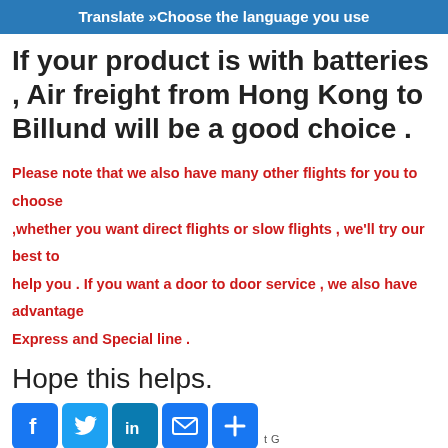Translate »Choose the language you use
If your product is with batteries , Air freight from Hong Kong to Billund will be a good choice .
Please note that we also have many other flights for you to choose ,whether you want direct flights or slow flights , we'll try our best to help you . If you want a door to door service , we also have advantage Express and Special line .
Hope this helps.
[Figure (infographic): Social sharing icons: Facebook, Twitter, LinkedIn, Email, Share (plus sign)]